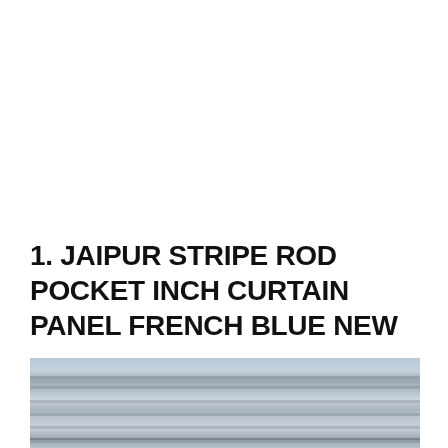1. JAIPUR STRIPE ROD POCKET INCH CURTAIN PANEL FRENCH BLUE NEW
[Figure (photo): Close-up photo of a Jaipur stripe curtain panel in French blue, showing horizontal stripes and rod pocket at the top, fabric appears folded/bunched]